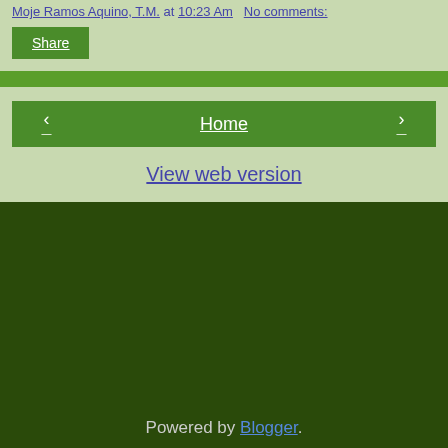Moje Ramos Aquino, T.M. at 10:23 Am   No comments:
Share
‹   Home   ›
View web version
Powered by Blogger.